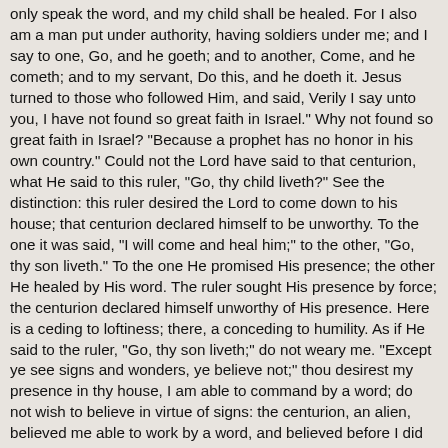only speak the word, and my child shall be healed. For I also am a man put under authority, having soldiers under me; and I say to one, Go, and he goeth; and to another, Come, and he cometh; and to my servant, Do this, and he doeth it. Jesus turned to those who followed Him, and said, Verily I say unto you, I have not found so great faith in Israel." Why not found so great faith in Israel? "Because a prophet has no honor in his own country." Could not the Lord have said to that centurion, what He said to this ruler, "Go, thy child liveth?" See the distinction: this ruler desired the Lord to come down to his house; that centurion declared himself to be unworthy. To the one it was said, "I will come and heal him;" to the other, "Go, thy son liveth." To the one He promised His presence; the other He healed by His word. The ruler sought His presence by force; the centurion declared himself unworthy of His presence. Here is a ceding to loftiness; there, a conceding to humility. As if He said to the ruler, "Go, thy son liveth;" do not weary me. "Except ye see signs and wonders, ye believe not;" thou desirest my presence in thy house, I am able to command by a word; do not wish to believe in virtue of signs: the centurion, an alien, believed me able to work by a word, and believed before I did it; you, "except ye see signs and wonders, believe not." Therefore, if it be so, let them be broken off as proud branches, and let the humble wild olive be grafted; nevertheless let the root remain, while those are cut off and these received in their place. Where does the root remain? In the patriarchs. For the people Israel is Christ's own country, since it is of them that He came according to the flesh; but the root of this tree is Abraham, Isaac, and Jacob, the holy patriarchs. And where are they? In rest with God, in great honor; so that it was into Abraham's bosom that the poor man, on being promoted, was raised after his departure from the body, and in Abraham's bosom was he seen from